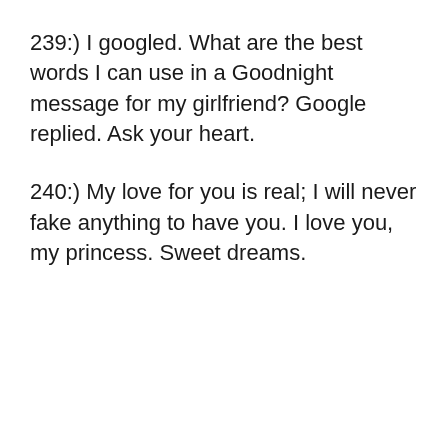239:) I googled. What are the best words I can use in a Goodnight message for my girlfriend? Google replied. Ask your heart.
240:) My love for you is real; I will never fake anything to have you. I love you, my princess. Sweet dreams.